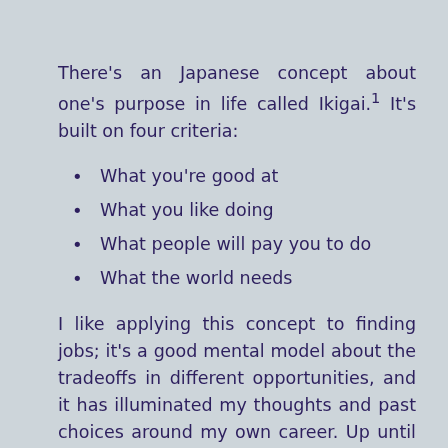There's an Japanese concept about one's purpose in life called Ikigai.¹ It's built on four criteria:
What you're good at
What you like doing
What people will pay you to do
What the world needs
I like applying this concept to finding jobs; it's a good mental model about the tradeoffs in different opportunities, and it has illuminated my thoughts and past choices around my own career. Up until sophomore year of undergrad, most choices I made about school and my job revolved around what I liked doing: programming.² I'm lucky enough this